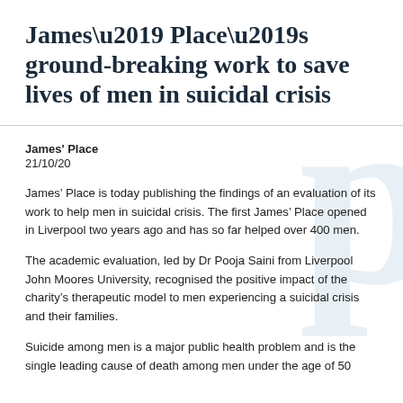James' Place's ground-breaking work to save lives of men in suicidal crisis
James' Place
21/10/20
James’ Place is today publishing the findings of an evaluation of its work to help men in suicidal crisis. The first James’ Place opened in Liverpool two years ago and has so far helped over 400 men.
The academic evaluation, led by Dr Pooja Saini from Liverpool John Moores University, recognised the positive impact of the charity’s therapeutic model to men experiencing a suicidal crisis and their families.
Suicide among men is a major public health problem and is the single leading cause of death among men under the age of 50